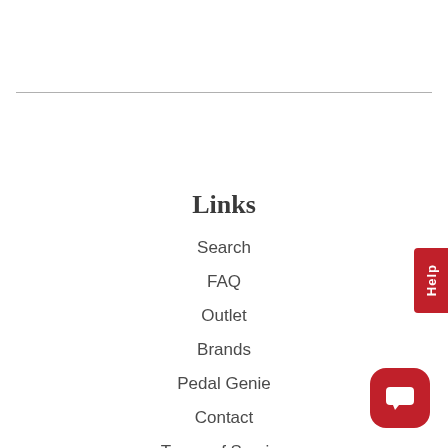Links
Search
FAQ
Outlet
Brands
Pedal Genie
Contact
Terms of Service
Refund policy